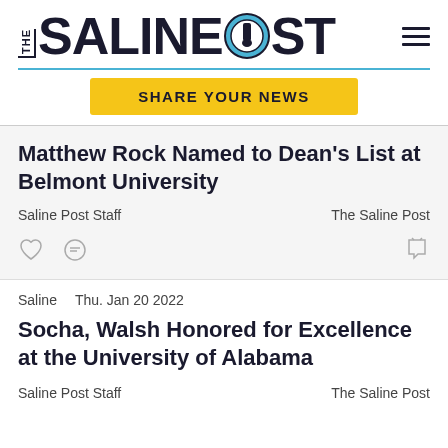THE SALINE POST
SHARE YOUR NEWS
Matthew Rock Named to Dean's List at Belmont University
Saline Post Staff    The Saline Post
Saline   Thu. Jan 20 2022
Socha, Walsh Honored for Excellence at the University of Alabama
Saline Post Staff    The Saline Post